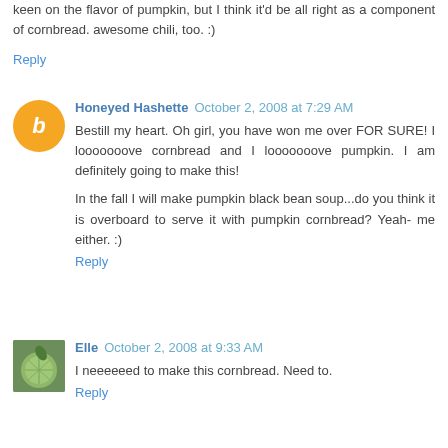keen on the flavor of pumpkin, but I think it'd be all right as a component of cornbread. awesome chili, too. :)
Reply
Honeyed Hashette  October 2, 2008 at 7:29 AM
Bestill my heart. Oh girl, you have won me over FOR SURE! I looooooove cornbread and I looooooove pumpkin. I am definitely going to make this!
In the fall I will make pumpkin black bean soup...do you think it is overboard to serve it with pumpkin cornbread? Yeah- me either. :)
Reply
Elle  October 2, 2008 at 9:33 AM
I neeeeeed to make this cornbread. Need to.
Reply